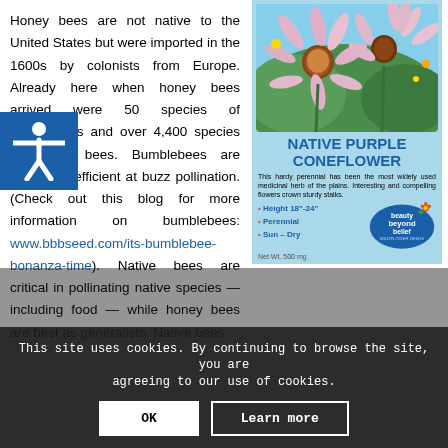Honey bees are not native to the United States but were imported in the 1600s by colonists from Europe. Already here when honey bees arrived were 50 species of bumblebees and over 4,400 species of native bees. Bumblebees are especially efficient at buzz pollination. (Check out this blog for more information on bumblebees: www.bbbseed.com/its-bumblebee-bonanza-time). Native bees are critical in pollinating native species — including food — while honey bees are best as generalists. Native bees
[Figure (photo): Seed packet for Native Purple Coneflower by beauty beyond belief wildflower seeds. Shows photo of purple coneflowers (Echinacea) with pink petals and orange-brown center cones. Packet lists Height 18"-24", Perennial, Sun-Dry. Net Wt. 500 mg.]
This site uses cookies. By continuing to browse the site, you are agreeing to our use of cookies.